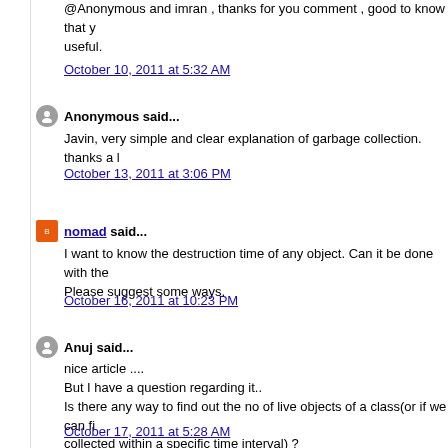@Anonymous and imran , thanks for you comment , good to know that y useful.
October 10, 2011 at 5:32 AM
Anonymous said...
Javin, very simple and clear explanation of garbage collection. thanks a l
October 13, 2011 at 3:06 PM
nomad said...
I want to know the destruction time of any object. Can it be done with the Please suggest some ways.
October 16, 2011 at 10:23 PM
Anuj said...
nice article ....
But I have a question regarding it..
Is there any way to find out the no of live objects of a class(or if we can fi collected within a specific time interval) ?
October 17, 2011 at 5:28 AM